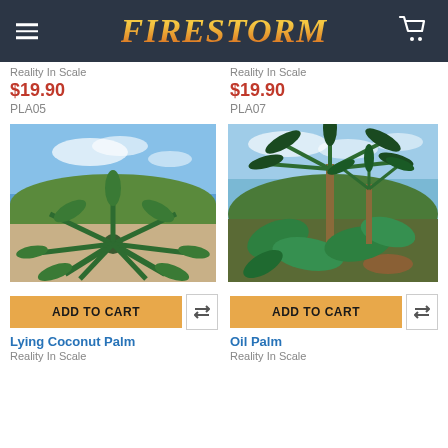FIRESTORM
$19.90
PLA05
$19.90
PLA07
[Figure (photo): Lying Coconut Palm plant product image showing a palm viewed from above against blue sky and sandy ground]
ADD TO CART
Lying Coconut Palm
Reality In Scale
[Figure (photo): Oil Palm product image showing tropical palm trees and foliage against blue sky]
ADD TO CART
Oil Palm
Reality In Scale